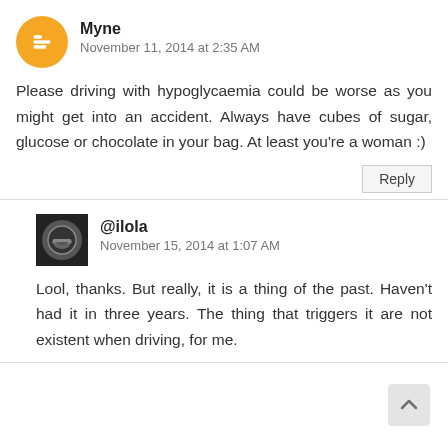Myne
November 11, 2014 at 2:35 AM
Please driving with hypoglycaemia could be worse as you might get into an accident. Always have cubes of sugar, glucose or chocolate in your bag. At least you're a woman :)
Reply
@ilola
November 15, 2014 at 1:07 AM
Lool, thanks. But really, it is a thing of the past. Haven't had it in three years. The thing that triggers it are not existent when driving, for me.